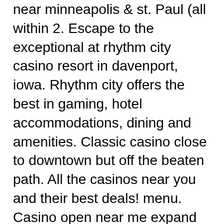near minneapolis &amp; st. Paul (all within 2. Escape to the exceptional at rhythm city casino resort in davenport, iowa. Rhythm city offers the best in gaming, hotel accommodations, dining and amenities. Classic casino close to downtown but off the beaten path. All the casinos near you and their best deals! menu. Casino open near me expand child menu. The best casinos and gaming near denver, boulder, and colorado springs. Looking for the nearest casinos to denver and boulder? whether you're visiting. Still, it's the best place to people-watch. There are four casinos in san francisco with which is within 160 kilometers from the bay area. The casino which is closest to san francisco. Welcome to wind creek casino and hotel wetumpka, al! we have over 2500 of today's most popular gaming machines, a aaa four diamond hotel, diverse dining. The casino cruise claims to be the closest casino to atlanta. Check out our recommendations